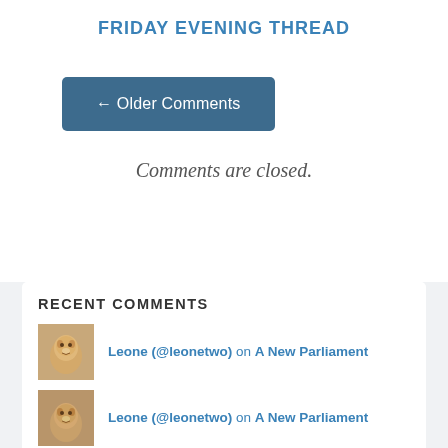FRIDAY EVENING THREAD
← Older Comments
Comments are closed.
RECENT COMMENTS
Leone (@leonetwo) on A New Parliament
Leone (@leonetwo) on A New Parliament
Leone (@leonetwo) on A New Parliament